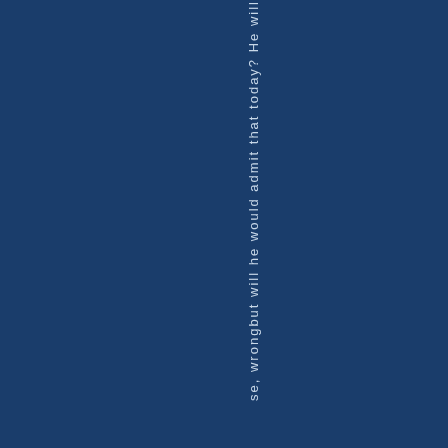se, wrongbut will he would admit that today? He will